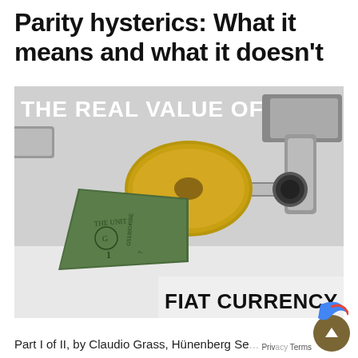Parity hysterics: What it means and what it doesn't
[Figure (photo): A roll of US dollar bills used as toilet paper on a chrome toilet paper holder, with text overlaid reading 'THE REAL VALUE OF FIAT CURRENCY']
Part I of II, by Claudio Grass, Hünenberg Se...